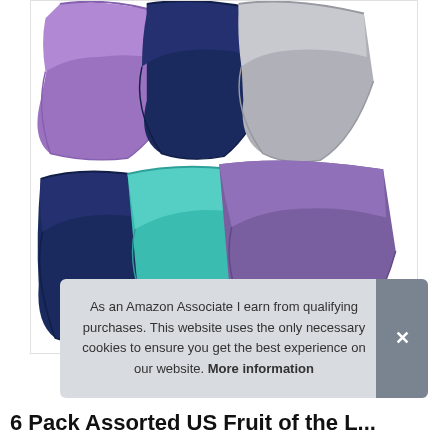[Figure (photo): Product photo showing two rows of women's underwear briefs. Top row: purple, navy, and gray. Bottom row: navy, teal, and purple briefs arranged overlapping each other.]
As an Amazon Associate I earn from qualifying purchases. This website uses the only necessary cookies to ensure you get the best experience on our website. More information
6 Pack Assorted US Fruit of the L...